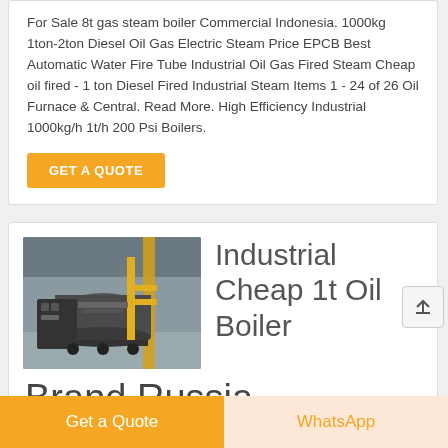For Sale 8t gas steam boiler Commercial Indonesia. 1000kg 1ton-2ton Diesel Oil Gas Electric Steam Price EPCB Best Automatic Water Fire Tube Industrial Oil Gas Fired Steam Cheap oil fired - 1 ton Diesel Fired Industrial Steam Items 1 - 24 of 26 Oil Furnace & Central. Read More. High Efficiency Industrial 1000kg/h 1t/h 200 Psi Boilers.
GET A QUOTE
[Figure (photo): Industrial boiler equipment in a factory/warehouse setting with yellow pipes and dark machinery]
Industrial Cheap 1t Oil Boiler Brand Russia
Get a Quote
WhatsApp